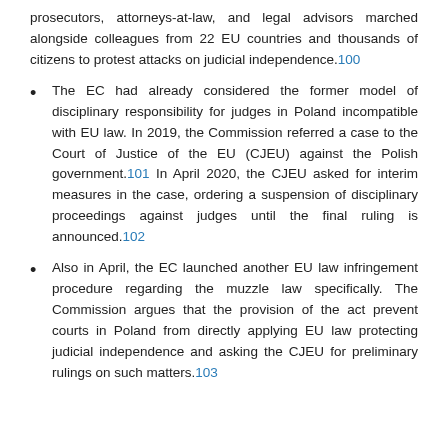prosecutors, attorneys-at-law, and legal advisors marched alongside colleagues from 22 EU countries and thousands of citizens to protest attacks on judicial independence.100
The EC had already considered the former model of disciplinary responsibility for judges in Poland incompatible with EU law. In 2019, the Commission referred a case to the Court of Justice of the EU (CJEU) against the Polish government.101 In April 2020, the CJEU asked for interim measures in the case, ordering a suspension of disciplinary proceedings against judges until the final ruling is announced.102
Also in April, the EC launched another EU law infringement procedure regarding the muzzle law specifically. The Commission argues that the provision of the act prevent courts in Poland from directly applying EU law protecting judicial independence and asking the CJEU for preliminary rulings on such matters.103